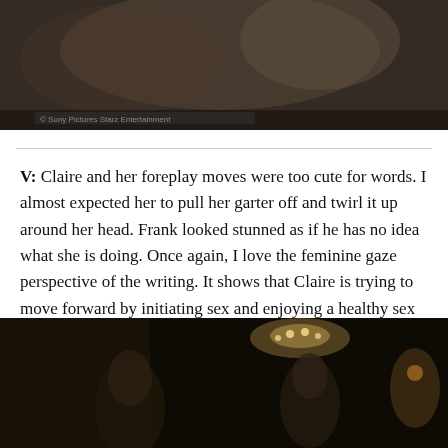[Figure (photo): A blurry screenshot from a TV show or film showing a person, dark and out of focus with some pattern visible.]
V: Claire and her foreplay moves were too cute for words. I almost expected her to pull her garter off and twirl it up around her head. Frank looked stunned as if he has no idea what she is doing. Once again, I love the feminine gaze perspective of the writing. It shows that Claire is trying to move forward by initiating sex and enjoying a healthy sex life, even if we all know who she is thinking about.
[Figure (photo): A dark screenshot from a TV show or film showing two people in a dimly lit room with a chandelier visible.]